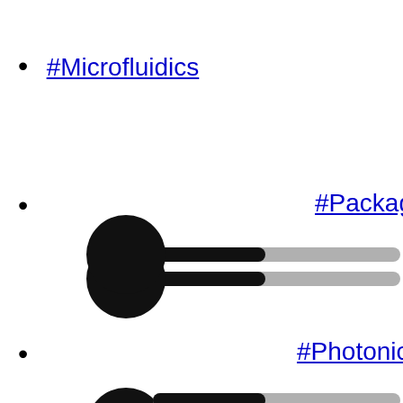#Microfluidics
[Figure (other): A slider/progress bar UI element with a large black circle on the left and a horizontal bar that is partially black then grey, representing a scroll or range control.]
#Packaging
[Figure (other): A slider/progress bar UI element with a large black circle on the left and a horizontal bar that is partially black then grey.]
#Photonics
[Figure (other): A slider/progress bar UI element partially visible at the bottom, with a large black circle on the left.]